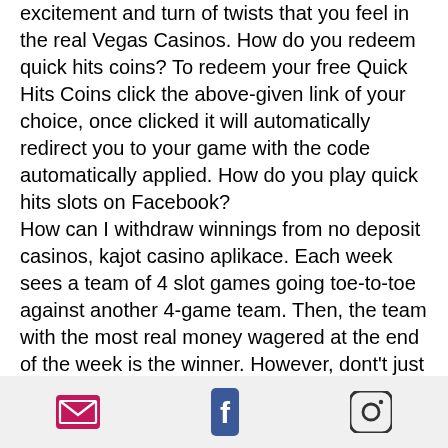excitement and turn of twists that you feel in the real Vegas Casinos. How do you redeem quick hits coins? To redeem your free Quick Hits Coins click the above-given link of your choice, once clicked it will automatically redirect you to your game with the code automatically applied. How do you play quick hits slots on Facebook?
How can I withdraw winnings from no deposit casinos, kajot casino aplikace. Each week sees a team of 4 slot games going toe-to-toe against another 4-game team. Then, the team with the most real money wagered at the end of the week is the winner. However, dont't just pick a winning team. Have the winning team at the end of the week and get a 10% bonus back of all real money net losses on the winning group of games from each match-up, kajot casino
email | facebook | instagram icons